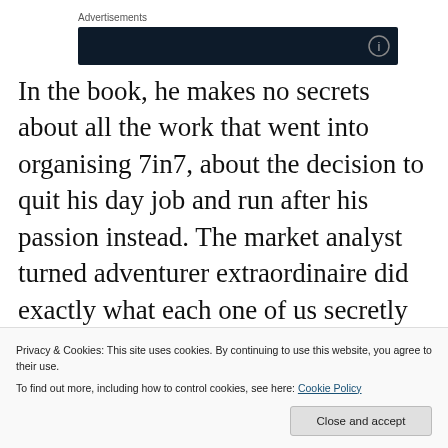Advertisements
[Figure (other): Dark advertisement banner with close icon]
In the book, he makes no secrets about all the work that went into organising 7in7, about the decision to quit his day job and run after his passion instead. The market analyst turned adventurer extraordinaire did exactly what each one of us secretly dreams of doing and turned his passion into his full-time job. What's even more awesome,
Privacy & Cookies: This site uses cookies. By continuing to use this website, you agree to their use.
To find out more, including how to control cookies, see here: Cookie Policy
Close and accept